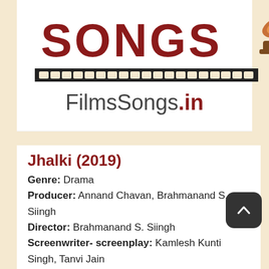[Figure (logo): FilmsSongs.in logo with SONGS text in dark red, gramophone icon, film strip, and FilmsSongs.in text below]
Jhalki (2019)
Genre: Drama
Producer: Annand Chavan, Brahmanand S. Siingh
Director: Brahmanand S. Siingh
Screenwriter- screenplay: Kamlesh Kunti Singh, Tanvi Jain
Writer: Brahmanand S. Siingh
Story: Prakash Jha, Brahmanand S. Siingh
Actor: Boman Irani, Sanjay Suri, Yatin Karyekar, Akhilendra Mishra, Govind Namdev, Joy Sengupta